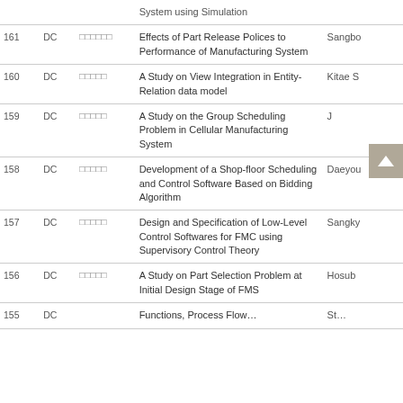| No | Type | Author | Title | Person |
| --- | --- | --- | --- | --- |
| 161 | DC | □□□□□□ | Effects of Part Release Polices to Performance of Manufacturing System | Sangbo… |
| 160 | DC | □□□□□ | A Study on View Integration in Entity-Relation data model | Kitae S… |
| 159 | DC | □□□□□ | A Study on the Group Scheduling Problem in Cellular Manufacturing System | J… |
| 158 | DC | □□□□□ | Development of a Shop-floor Scheduling and Control Software Based on Bidding Algorithm | Daeyo… |
| 157 | DC | □□□□□ | Design and Specification of Low-Level Control Softwares for FMC using Supervisory Control Theory | Sangky… |
| 156 | DC | □□□□□ | A Study on Part Selection Problem at Initial Design Stage of FMS | Hosub… |
| 155 | DC | … | Functions, Process Flow… | St… |